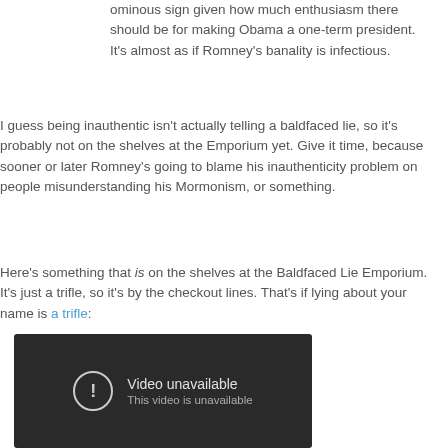ominous sign given how much enthusiasm there should be for making Obama a one-term president. It's almost as if Romney's banality is infectious.
I guess being inauthentic isn't actually telling a baldfaced lie, so it's probably not on the shelves at the Emporium yet. Give it time, because sooner or later Romney's going to blame his inauthenticity problem on people misunderstanding his Mormonism, or something.
Here's something that is on the shelves at the Baldfaced Lie Emporium. It's just a trifle, so it's by the checkout lines. That's if lying about your name is a trifle:
[Figure (screenshot): Embedded video player showing 'Video unavailable - This video is unavailable' error message on dark background]